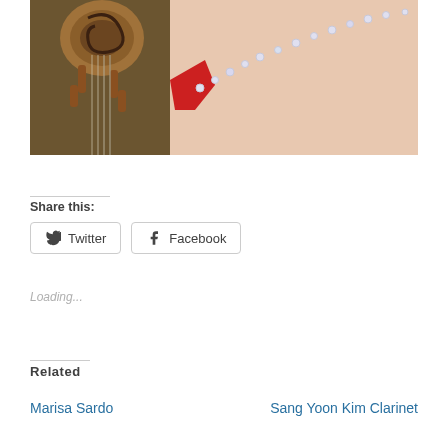[Figure (photo): Close-up photo of a person in a red dress with a jeweled strap over their bare back, holding or standing near the scroll of a cello/violin against a warm brown background]
Share this:
Twitter   Facebook
Loading...
Related
Marisa Sardo
Sang Yoon Kim Clarinet